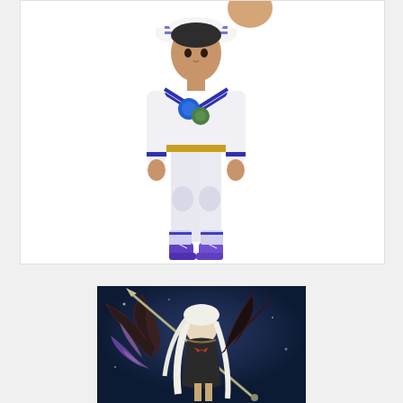[Figure (photo): An anime/manga figurine of a young male character wearing a white sailor-style outfit with blue stripe accents, a white sailor hat, purple sneakers, and a blue brooch on the chest. The figure is posed standing with arms slightly out.]
[Figure (photo): An anime figurine of a female character in dark fantasy armor with white/silver hair, bat wings, holding a long staff/spear, posed dynamically against a dark blue background.]